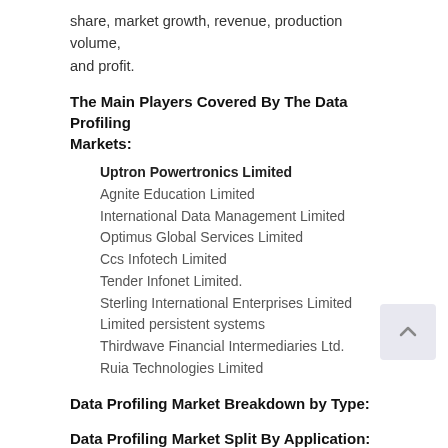share, market growth, revenue, production volume, and profit.
The Main Players Covered By The Data Profiling Markets:
Uptron Powertronics Limited
Agnite Education Limited
International Data Management Limited
Optimus Global Services Limited
Ccs Infotech Limited
Tender Infonet Limited.
Sterling International Enterprises Limited
Limited persistent systems
Thirdwave Financial Intermediaries Ltd.
Ruia Technologies Limited
Data Profiling Market Breakdown by Type:
Data Profiling Market Split By Application: